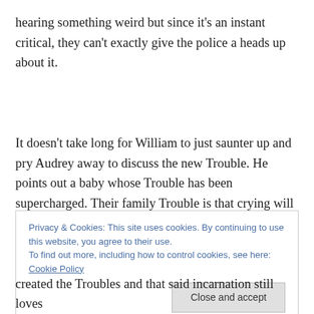hearing something weird but since it's an instant critical, they can't exactly give the police a heads up about it.
It doesn't take long for William to just saunter up and pry Audrey away to discuss the new Trouble. He points out a baby whose Trouble has been supercharged. Their family Trouble is that crying will cause random people to die but only when they hit puberty. Much like he would have to do
Privacy & Cookies: This site uses cookies. By continuing to use this website, you agree to their use.
To find out more, including how to control cookies, see here: Cookie Policy
Close and accept
created the Troubles and that said incarnation still loves